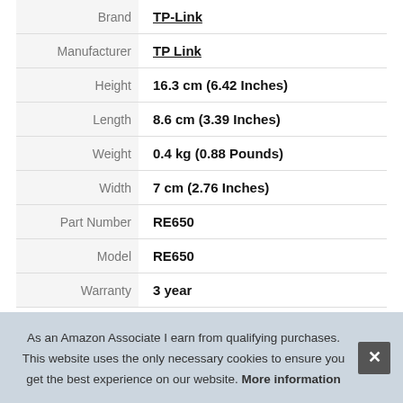| Brand | TP-Link |
| Manufacturer | TP Link |
| Height | 16.3 cm (6.42 Inches) |
| Length | 8.6 cm (3.39 Inches) |
| Weight | 0.4 kg (0.88 Pounds) |
| Width | 7 cm (2.76 Inches) |
| Part Number | RE650 |
| Model | RE650 |
| Warranty | 3 year |
As an Amazon Associate I earn from qualifying purchases. This website uses the only necessary cookies to ensure you get the best experience on our website. More information